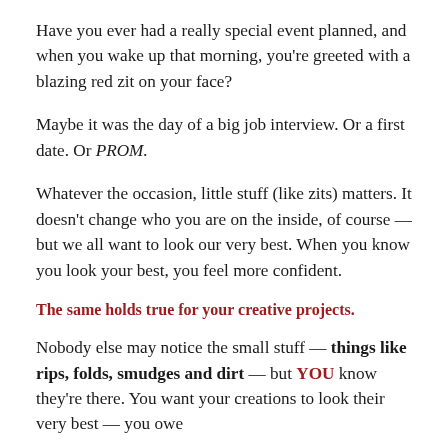Have you ever had a really special event planned, and when you wake up that morning, you're greeted with a blazing red zit on your face?
Maybe it was the day of a big job interview. Or a first date. Or PROM.
Whatever the occasion, little stuff (like zits) matters. It doesn't change who you are on the inside, of course — but we all want to look our very best. When you know you look your best, you feel more confident.
The same holds true for your creative projects.
Nobody else may notice the small stuff — things like rips, folds, smudges and dirt — but YOU know they're there. You want your creations to look their very best — you owe